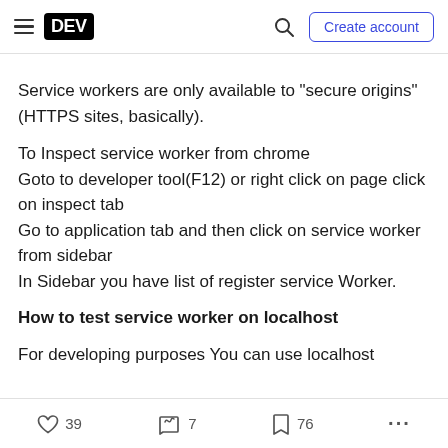DEV | Create account
Service workers are only available to "secure origins" (HTTPS sites, basically).
To Inspect service worker from chrome
Goto to developer tool(F12) or right click on page click on inspect tab
Go to application tab and then click on service worker from sidebar
In Sidebar you have list of register service Worker.
How to test service worker on localhost
For developing purposes You can use localhost
39  7  76  ...